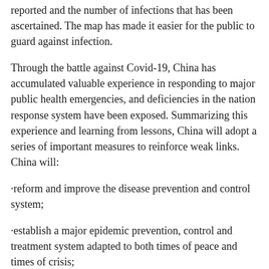reported and the number of infections that has been ascertained. The map has made it easier for the public to guard against infection.
Through the battle against Covid-19, China has accumulated valuable experience in responding to major public health emergencies, and deficiencies in the nation response system have been exposed. Summarizing this experience and learning from lessons, China will adopt a series of important measures to reinforce weak links. China will:
·reform and improve the disease prevention and control system;
·establish a major epidemic prevention, control and treatment system adapted to both times of peace and times of crisis;